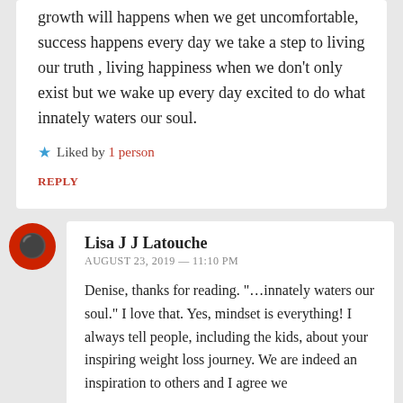growth will happens when we get uncomfortable, success happens every day we take a step to living our truth , living happiness when we don’t only exist but we wake up every day excited to do what innately waters our soul.
★ Liked by 1 person
REPLY
Lisa J J Latouche
AUGUST 23, 2019 — 11:10 PM
Denise, thanks for reading. “…innately waters our soul.” I love that. Yes, mindset is everything! I always tell people, including the kids, about your inspiring weight loss journey. We are indeed an inspiration to others and I agree we